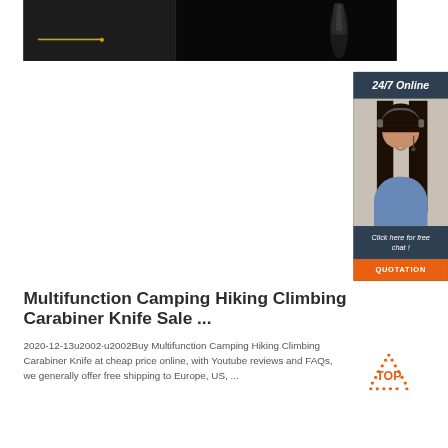[Figure (photo): Dark product photo showing two views of a multifunction camping/hiking carabiner knife on a dark background, with a yellow horizontal line and dot marker visible on the left panel.]
[Figure (infographic): Customer service chat widget showing '24/7 Online' header, a woman with headset, 'Click here for free chat!' text, and an orange 'QUOTATION' button.]
Multifunction Camping Hiking Climbing Carabiner Knife Sale ...
2020-12-13u2002·u2002Buy Multifunction Camping Hiking Climbing Carabiner Knife at cheap price online, with Youtube reviews and FAQs, we generally offer free shipping to Europe, US, ...